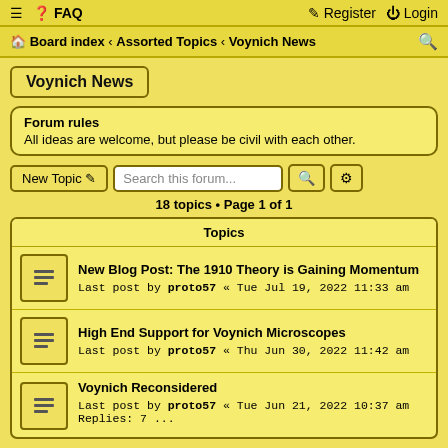≡ FAQ | Register Login
Board index « Assorted Topics « Voynich News
Voynich News
Forum rules
All ideas are welcome, but please be civil with each other.
New Topic | Search this forum...
18 topics • Page 1 of 1
| Topics |
| --- |
| New Blog Post: The 1910 Theory is Gaining Momentum | Last post by proto57 « Tue Jul 19, 2022 11:33 am |
| High End Support for Voynich Microscopes | Last post by proto57 « Thu Jun 30, 2022 11:42 am |
| Voynich Reconsidered | Last post by proto57 « Tue Jun 21, 2022 10:37 am |